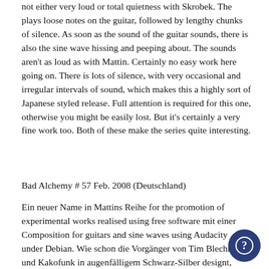not either very loud or total quietness with Skrobek. The plays loose notes on the guitar, followed by lengthy chunks of silence. As soon as the sound of the guitar sounds, there is also the sine wave hissing and peeping about. The sounds aren't as loud as with Mattin. Certainly no easy work here going on. There is lots of silence, with very occasional and irregular intervals of sound, which makes this a highly sort of Japanese styled release. Full attention is required for this one, otherwise you might be easily lost. But it's certainly a very fine work too. Both of these make the series quite interesting.
Bad Alchemy # 57 Feb. 2008 (Deutschland)
Ein neuer Name in Mattins Reihe for the promotion of experimental works realised using free software mit einer Composition for guitars and sine waves using Audacity under Debian. Wie schon die Vorgänger von Tim Blechmann und Kakofunk in augenfälligem Schwarz-Silber designt, operiert Skrobeks dreiviertelständiges Triptychon mit dem Call und Response von einzelnen Gitarrennoten. Ähnlich dem